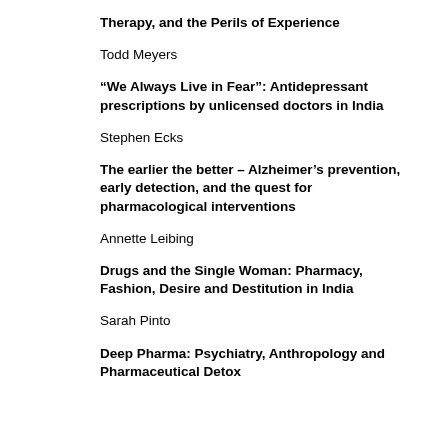Therapy, and the Perils of Experience
Todd Meyers
“We Always Live in Fear”: Antidepressant prescriptions by unlicensed doctors in India
Stephen Ecks
The earlier the better – Alzheimer’s prevention, early detection, and the quest for pharmacological interventions
Annette Leibing
Drugs and the Single Woman: Pharmacy, Fashion, Desire and Destitution in India
Sarah Pinto
Deep Pharma: Psychiatry, Anthropology and Pharmaceutical Detox